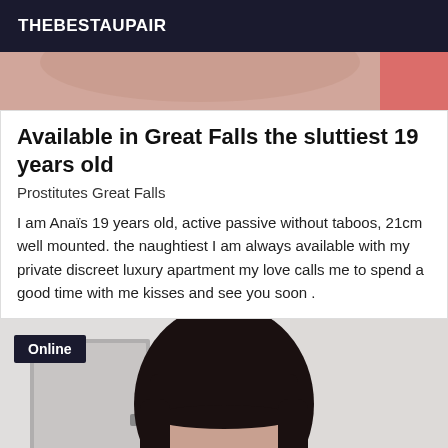THEBESTAUPAIR
[Figure (photo): Partial photo of a person, skin tones visible, cropped at top of card]
Available in Great Falls the sluttiest 19 years old
Prostitutes Great Falls
I am Anaïs 19 years old, active passive without taboos, 21cm well mounted. the naughtiest I am always available with my private discreet luxury apartment my love calls me to spend a good time with me kisses and see you soon .
[Figure (photo): Photo of a woman with dark hair and bangs, looking down, indoor setting with door visible]